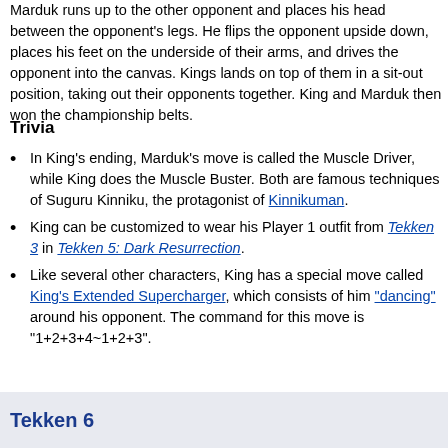Marduk runs up to the other opponent and places his head between the opponent's legs. He flips the opponent upside down, places his feet on the underside of their arms, and drives the opponent into the canvas. Kings lands on top of them in a sit-out position, taking out their opponents together. King and Marduk then won the championship belts.
Trivia
In King's ending, Marduk's move is called the Muscle Driver, while King does the Muscle Buster. Both are famous techniques of Suguru Kinniku, the protagonist of Kinnikuman.
King can be customized to wear his Player 1 outfit from Tekken 3 in Tekken 5: Dark Resurrection.
Like several other characters, King has a special move called King's Extended Supercharger, which consists of him "dancing" around his opponent. The command for this move is "1+2+3+4~1+2+3".
Tekken 6